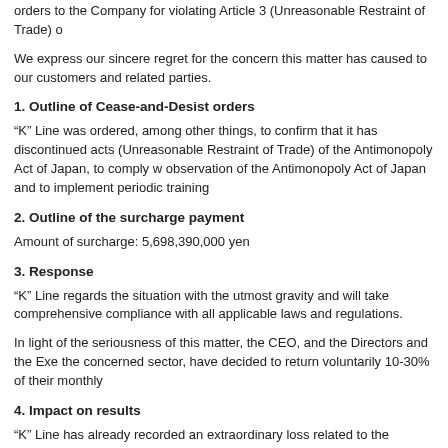orders to the Company for violating Article 3 (Unreasonable Restraint of Trade) o
We express our sincere regret for the concern this matter has caused to our customers and related parties.
1. Outline of Cease-and-Desist orders
“K” Line was ordered, among other things, to confirm that it has discontinued acts (Unreasonable Restraint of Trade) of the Antimonopoly Act of Japan, to comply with observation of the Antimonopoly Act of Japan and to implement periodic training
2. Outline of the surcharge payment
Amount of surcharge: 5,698,390,000 yen
3. Response
“K” Line regards the situation with the utmost gravity and will take comprehensive compliance with all applicable laws and regulations.
In light of the seriousness of this matter, the CEO, and the Directors and the Executive Officers of the concerned sector, have decided to return voluntarily 10-30% of their monthly
4. Impact on results
“K” Line has already recorded an extraordinary loss related to the Antimonopoly Act and reverse of provisions in conjunction with the third quarter of the fiscal year 2013.